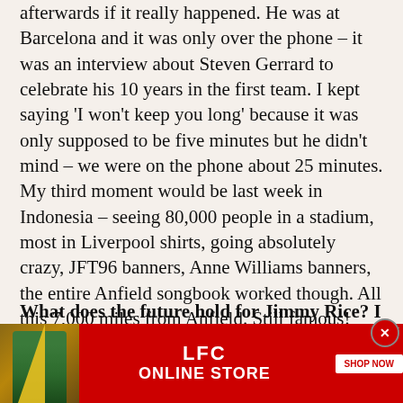afterwards if it really happened. He was at Barcelona and it was only over the phone – it was an interview about Steven Gerrard to celebrate his 10 years in the first team. I kept saying 'I won't keep you long' because it was only supposed to be five minutes but he didn't mind – we were on the phone about 25 minutes. My third moment would be last week in Indonesia – seeing 80,000 people in a stadium, most in Liverpool shirts, going absolutely crazy, JFT96 banners, Anne Williams banners, the entire Anfield songbook worked though. All this 7,000 miles from Anfield. Still famous!
What does the future hold for Jimmy Rice? I
[Figure (other): LFC Online Store advertisement banner with red background, photo of person in green shirt, LFC ONLINE STORE text, and SHOP NOW button]